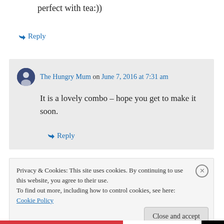perfect with tea:))
↳ Reply
The Hungry Mum on June 7, 2016 at 7:31 am
It is a lovely combo – hope you get to make it soon.
↳ Reply
Privacy & Cookies: This site uses cookies. By continuing to use this website, you agree to their use. To find out more, including how to control cookies, see here: Cookie Policy
Close and accept